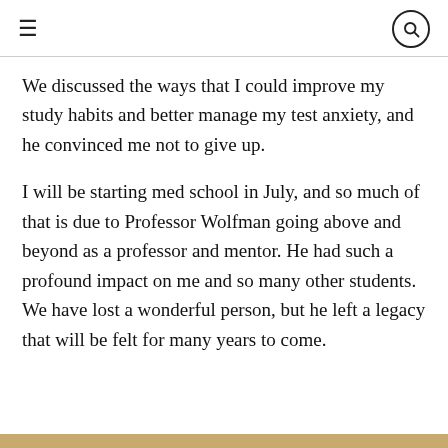≡ [search icon]
We discussed the ways that I could improve my study habits and better manage my test anxiety, and he convinced me not to give up.
I will be starting med school in July, and so much of that is due to Professor Wolfman going above and beyond as a professor and mentor. He had such a profound impact on me and so many other students. We have lost a wonderful person, but he left a legacy that will be felt for many years to come.